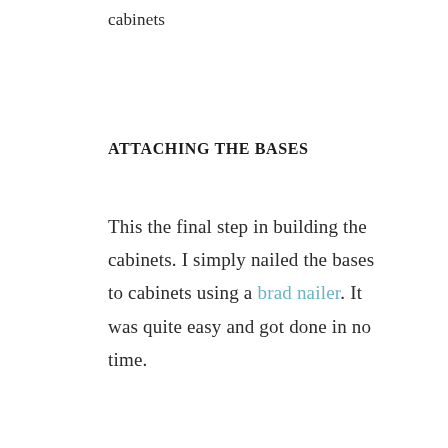cabinets
ATTACHING THE BASES
This the final step in building the cabinets. I simply nailed the bases to cabinets using a brad nailer. It was quite easy and got done in no time.